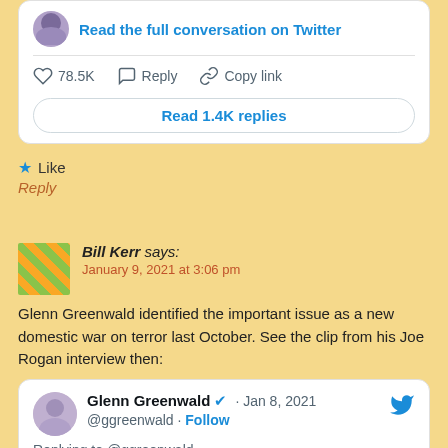[Figure (screenshot): Twitter/X embedded tweet card with avatar, 'Read the full conversation on Twitter' link, like count 78.5K, Reply, Copy link actions, and 'Read 1.4K replies' button]
Like
Reply
Bill Kerr says:
January 9, 2021 at 3:06 pm

Glenn Greenwald identified the important issue as a new domestic war on terror last October. See the clip from his Joe Rogan interview then:
[Figure (screenshot): Embedded tweet by Glenn Greenwald @ggreenwald · Jan 8, 2021, replying to @ggreenwald: 'I spent the first decade of my journalism career devoted to exposing and denouncing the']